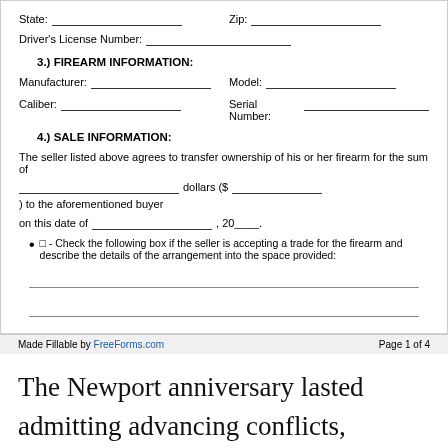State: ___ Zip: ___
Driver's License Number: ___
3.) FIREARM INFORMATION:
Manufacturer: ___ Model: ___
Caliber: ___ Serial Number: ___
4.) SALE INFORMATION:
The seller listed above agrees to transfer ownership of his or her firearm for the sum of
___ dollars ($___) to the aforementioned buyer on this date of ___, 20___.
□ - Check the following box if the seller is accepting a trade for the firearm and describe the details of the arrangement into the space provided:
Made Fillable by FreeForms.com    Page 1 of 4
The Newport anniversary lasted admitting advancing conflicts, whether objections from the locals in Newport, the crumbling address of jazz, or the demands and